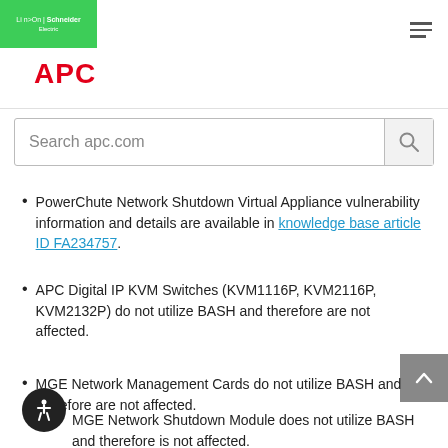Schneider Electric | APC
Search apc.com
PowerChute Network Shutdown Virtual Appliance vulnerability information and details are available in knowledge base article ID FA234757.
APC Digital IP KVM Switches (KVM1116P, KVM2116P, KVM2132P) do not utilize BASH and therefore are not affected.
MGE Network Management Cards do not utilize BASH and therefore are not affected.
MGE Network Shutdown Module does not utilize BASH and therefore is not affected.